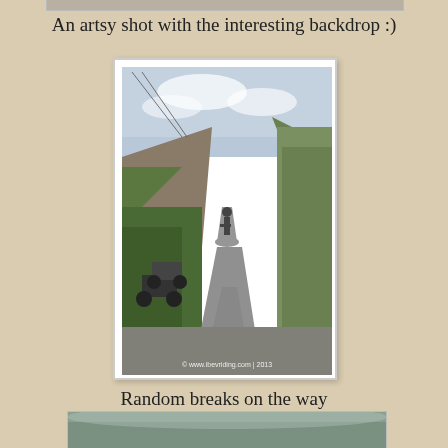[Figure (photo): Partial top of a photo visible at the very top edge of the page]
An artsy shot with the interesting backdrop :)
[Figure (photo): A winding mountain road with motorcycles parked on the left side. Lush green vegetation and rocky mountain cliffs on both sides. Cloudy sky above. Watermark reads: © www.ibevriding.com | 2013]
Random breaks on the way
[Figure (photo): Bottom portion of another photo visible at the base of the page, appears to show a misty/foggy landscape]